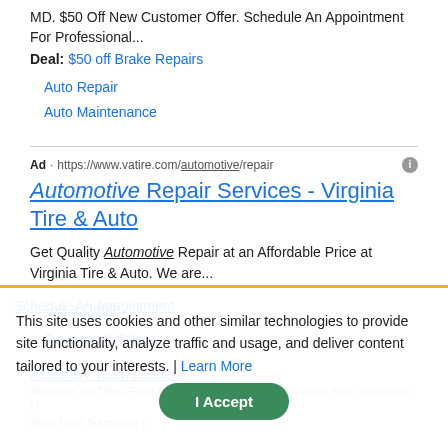MD. $50 Off New Customer Offer. Schedule An Appointment For Professional...
Deal: $50 off Brake Repairs
Auto Repair
Auto Maintenance
Ad · https://www.vatire.com/automotive/repair
Automotive Repair Services - Virginia Tire & Auto
Get Quality Automotive Repair at an Affordable Price at Virginia Tire & Auto. We are...
Schedule An Appointment
Get a Quote
Coupons & Offers
This site uses cookies and other similar technologies to provide site functionality, analyze traffic and usage, and deliver content tailored to your interests. | Learn More
Assembly Team Leader I
Alternate Job Titles: Floor Assembly Supervisor I | Production Floor Supervisor I | Shop Floor Supervisor |